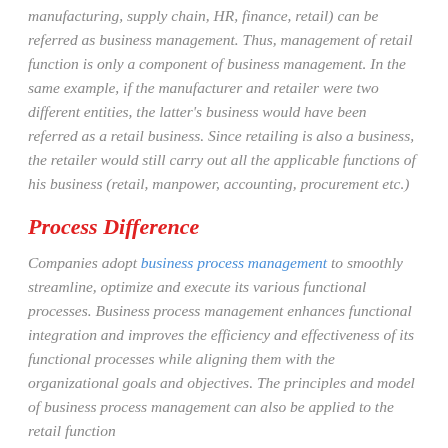manufacturing, supply chain, HR, finance, retail) can be referred as business management. Thus, management of retail function is only a component of business management. In the same example, if the manufacturer and retailer were two different entities, the latter's business would have been referred as a retail business. Since retailing is also a business, the retailer would still carry out all the applicable functions of his business (retail, manpower, accounting, procurement etc.)
Process Difference
Companies adopt business process management to smoothly streamline, optimize and execute its various functional processes. Business process management enhances functional integration and improves the efficiency and effectiveness of its functional processes while aligning them with the organizational goals and objectives. The principles and model of business process management can also be applied to the retail function